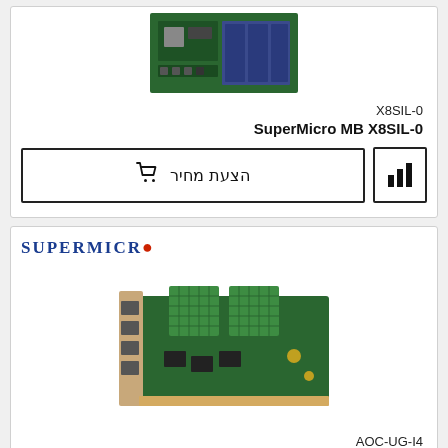[Figure (photo): SuperMicro motherboard X8SIL-0 product photo on green PCB]
X8SIL-0
SuperMicro MB X8SIL-0
הצעת מחיר (Request for price button with cart icon)
[Figure (logo): SuperMicro logo with red dot]
[Figure (photo): SuperMicro AOC-UG-I4 quad-port network card product photo]
AOC-UG-I4